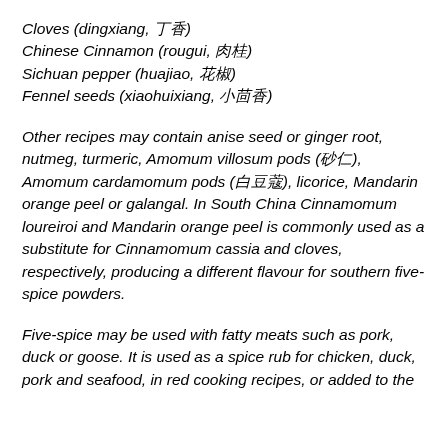Cloves (dingxiang, 丁香)
Chinese Cinnamon (rougui, 肉桂)
Sichuan pepper (huajiao, 花椒)
Fennel seeds (xiaohuixiang, 小茴香)
Other recipes may contain anise seed or ginger root, nutmeg, turmeric, Amomum villosum pods (砂仁), Amomum cardamomum pods (白豆蔻), licorice, Mandarin orange peel or galangal. In South China Cinnamomum loureiroi and Mandarin orange peel is commonly used as a substitute for Cinnamomum cassia and cloves, respectively, producing a different flavour for southern five-spice powders.
Five-spice may be used with fatty meats such as pork, duck or goose. It is used as a spice rub for chicken, duck, pork and seafood, in red cooking recipes, or added to the